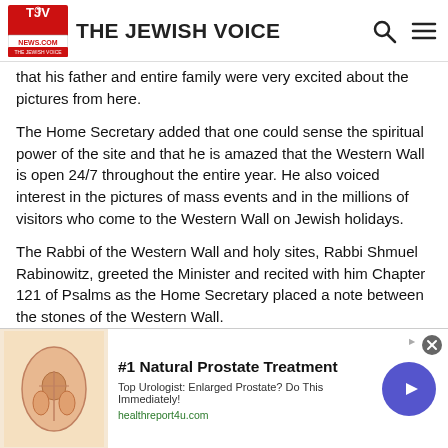THE JEWISH VOICE
that his father and entire family were very excited about the pictures from here.
The Home Secretary added that one could sense the spiritual power of the site and that he is amazed that the Western Wall is open 24/7 throughout the entire year.  He also voiced interest in the pictures of mass events and in the millions of visitors who come to the Western Wall on Jewish holidays.
The Rabbi of the Western Wall and holy sites, Rabbi Shmuel Rabinowitz, greeted the Minister and recited with him Chapter 121 of Psalms as the Home Secretary placed a note between the stones of the Western Wall.
The Rabbi said to the Home Secretary, “Your visit here is evidence that his visit is for…”
[Figure (other): Advertisement banner: #1 Natural Prostate Treatment. Top Urologist: Enlarged Prostate? Do This Immediately! healthreport4u.com. Shows anatomical illustration of prostate and a play button.]